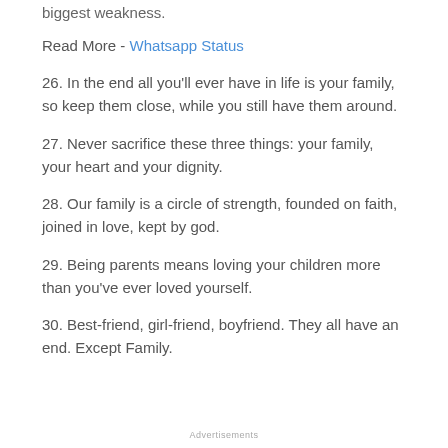biggest weakness.
Read More - Whatsapp Status
26. In the end all you'll ever have in life is your family, so keep them close, while you still have them around.
27. Never sacrifice these three things: your family, your heart and your dignity.
28. Our family is a circle of strength, founded on faith, joined in love, kept by god.
29. Being parents means loving your children more than you've ever loved yourself.
30. Best-friend, girl-friend, boyfriend. They all have an end. Except Family.
Advertisements